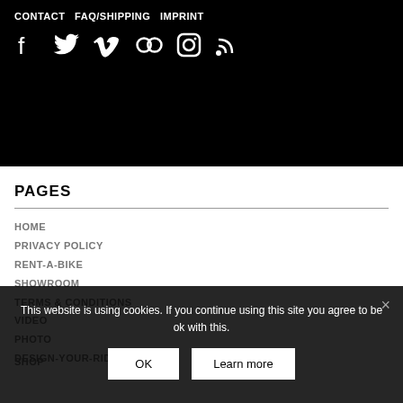CONTACT  FAQ/SHIPPING  IMPRINT
[Figure (other): Social media icons: Facebook, Twitter, Vimeo, Flickr, Instagram, RSS feed]
PAGES
HOME
PRIVACY POLICY
RENT-A-BIKE
SHOWROOM
TERMS & CONDITIONS
VIDEO
PHOTO
DESIGN-YOUR-RIDE
SHOP
BLOG
DEALERS
ABOUT
CONTACT
This website is using cookies. If you continue using this site you agree to be ok with this.